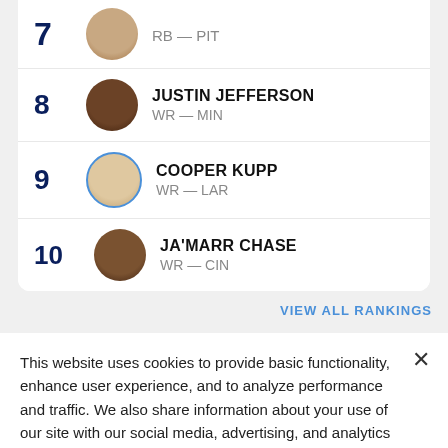7 RB — PIT
8 JUSTIN JEFFERSON WR — MIN
9 COOPER KUPP WR — LAR
10 JA'MARR CHASE WR — CIN
VIEW ALL RANKINGS
This website uses cookies to provide basic functionality, enhance user experience, and to analyze performance and traffic. We also share information about your use of our site with our social media, advertising, and analytics partners.
By using this website you agree to our Terms of Use.
Do Not Sell My Personal Information
Accept Cookies